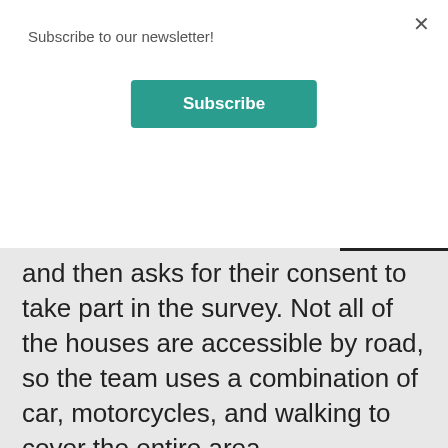Subscribe to our newsletter!
Subscribe
and then asks for their consent to take part in the survey. Not all of the houses are accessible by road, so the team uses a combination of car, motorcycles, and walking to cover the entire area.
There are more than 700 districts like this one that need to be mapped. Wandachew is part of a small team gathering data on the local disease burden, which will enable